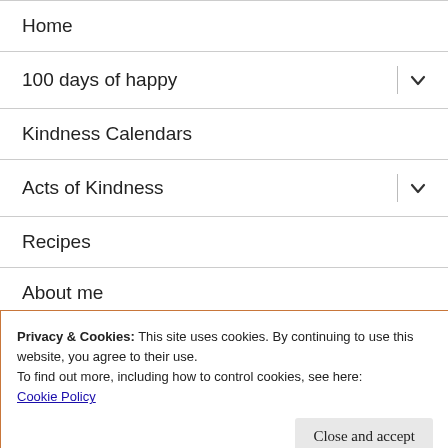Home
100 days of happy
Kindness Calendars
Acts of Kindness
Recipes
About me
Privacy & Cookies: This site uses cookies. By continuing to use this website, you agree to their use.
To find out more, including how to control cookies, see here:
Cookie Policy
Close and accept
powered by WordPress